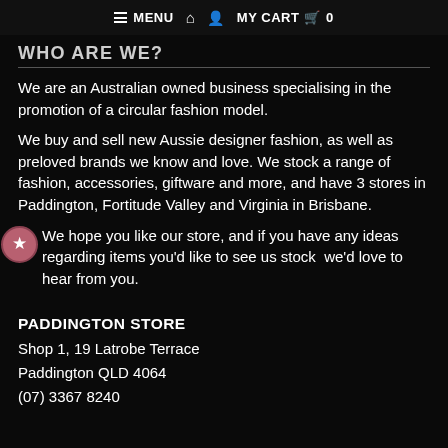≡ MENU 🏠 👤 MY CART 🛒 0
WHO ARE WE?
We are an Australian owned business specialising in the promotion of a circular fashion model.
We buy and sell new Aussie designer fashion, as well as preloved brands we know and love. We stock a range of fashion, accessories, giftware and more, and have 3 stores in Paddington, Fortitude Valley and Virginia in Brisbane.
We hope you like our store, and if you have any ideas regarding items you'd like to see us stock  we'd love to hear from you.
PADDINGTON STORE
Shop 1, 19 Latrobe Terrace
Paddington QLD 4064
(07) 3367 8240